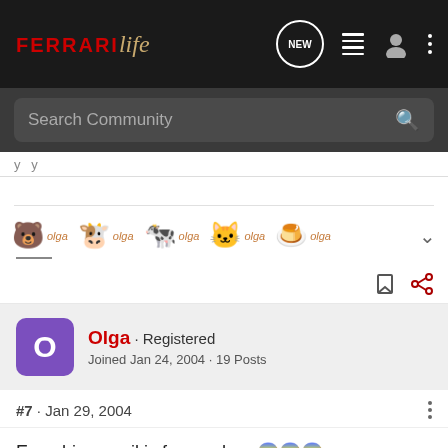FERRARI Life - Community forum header with search bar
[Figure (illustration): Row of cute pixel-art animal teacup emoji stickers labeled 'olga' next to each]
Olga · Registered
Joined Jan 24, 2004 · 19 Posts
#7 · Jan 29, 2004
Even his e-mail is from yahoo 😱😱😱